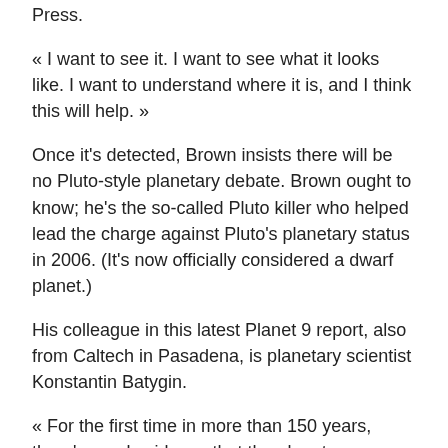Press.
« I want to see it. I want to see what it looks like. I want to understand where it is, and I think this will help. »
Once it's detected, Brown insists there will be no Pluto-style planetary debate. Brown ought to know; he's the so-called Pluto killer who helped lead the charge against Pluto's planetary status in 2006. (It's now officially considered a dwarf planet.)
His colleague in this latest Planet 9 report, also from Caltech in Pasadena, is planetary scientist Konstantin Batygin.
« For the first time in more than 150 years, there's good evidence that the planetary census of the solar system is incomplete, » Batygin said, referring to Neptune's discovery in Planet 9...